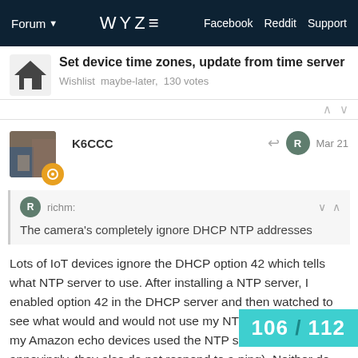Forum  WYZE  Facebook  Reddit  Support
Set device time zones, update from time server
Wishlist  maybe-later,  130 votes
K6CCC  Mar 21
richm: The camera's completely ignore DHCP NTP addresses
Lots of IoT devices ignore the DHCP option 42 which tells what NTP server to use. After installing a NTP server, I enabled option 42 in the DHCP server and then watched to see what would and would not use my NTP server. None of my Amazon echo devices used the NTP server (and annoyingly, they also do not respond to a ping). Neither do my non-Wyze power switches. Only a few devices used the NTP server based on the setting.